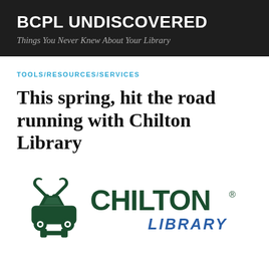BCPL UNDISCOVERED
Things You Never Knew About Your Library
TOOLS/RESOURCES/SERVICES
This spring, hit the road running with Chilton Library
[Figure (logo): Chilton Library logo: dark green car with wrench icons above and below, next to bold green text 'CHILTON' and blue italic text 'LIBRARY' with registered trademark symbol]